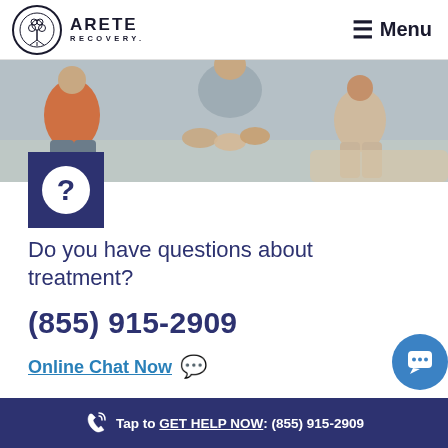ARETE RECOVERY — Menu
[Figure (photo): Group therapy session showing people sitting in a circle, hands visible, one person in orange shirt]
Do you have questions about treatment?
(855) 915-2909
Online Chat Now
Tap to GET HELP NOW: (855) 915-2909
Related Pages: